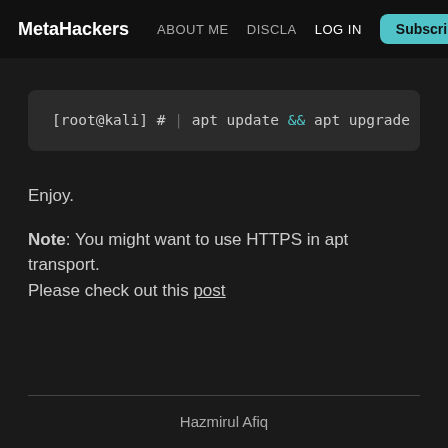MetaHackers  ABOUT ME  DISCLA  Log in  Subscribe
[Figure (screenshot): Terminal code block showing: [root@kali] # | apt update && apt upgrade -y &&]
Enjoy.
Note: You might want to use HTTPS in apt transport. Please check out this post
Hazmirul Afiq